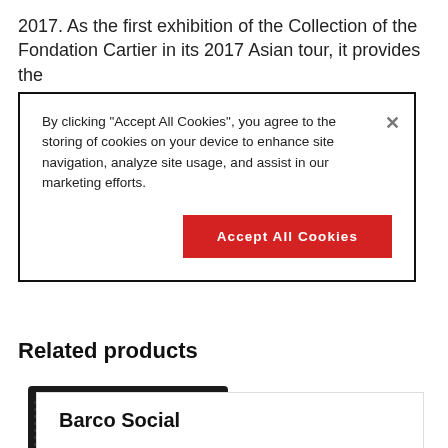2017. As the first exhibition of the Collection of the Fondation Cartier in its 2017 Asian tour, it provides the
[Figure (screenshot): Cookie consent overlay dialog with message: By clicking "Accept All Cookies", you agree to the storing of cookies on your device to enhance site navigation, analyze site usage, and assist in our marketing efforts. An X close button in top right. A red Accept All Cookies button.]
Related products
[Figure (photo): Photo of IOSONO CORE audio device, a black rack-mount unit with a silver front panel and display screen.]
IOSONO CORE
Barco Social